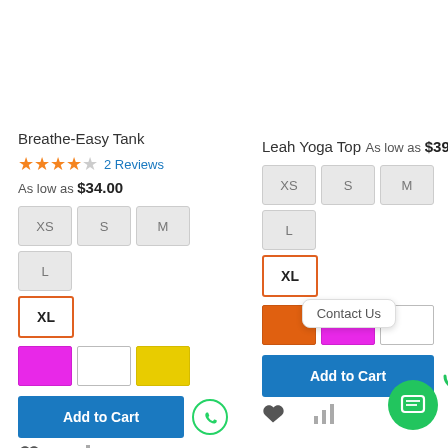Breathe-Easy Tank
★★★★☆ 2 Reviews
As low as $34.00
XS S M L XL (size buttons)
Color swatches: magenta, white, yellow
Add to Cart
Leah Yoga Top
As low as $39.00
XS S M L XL (size buttons)
Color swatches: orange, magenta, white
Add to Cart
Contact Us